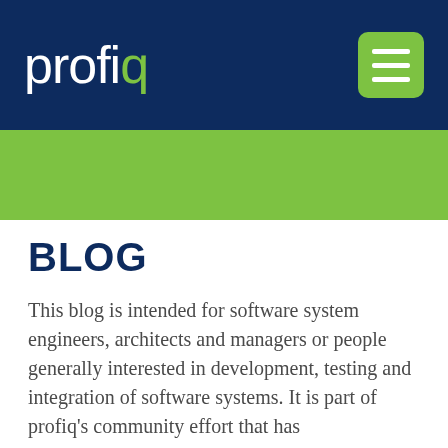[Figure (logo): Profiq logo: white lowercase text 'profiq' with a green 'q' letter, on dark navy blue header bar, with a green rounded square hamburger menu button on the right]
[Figure (other): Green decorative horizontal bar below the header]
BLOG
This blog is intended for software system engineers, architects and managers or people generally interested in development, testing and integration of software systems. It is part of profiq's community effort that has